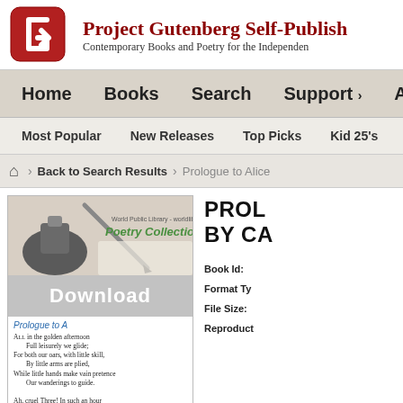[Figure (logo): Project Gutenberg Self-Publishing logo: red rounded square with white G-like arrow shape]
Project Gutenberg Self-Publish
Contemporary Books and Poetry for the Independen
Home   Books   Search   Support ›   About U
Most Popular   New Releases   Top Picks   Kid 25's
Back to Search Results   Prologue to Alice
[Figure (screenshot): World Public Library Poetry Collection book preview with Download overlay and poem text beginning 'Prologue to A... ALL in the golden afternoon Full leisurely we glide...']
PROL BY CA
Book Id:
Format Ty
File Size:
Reproduct